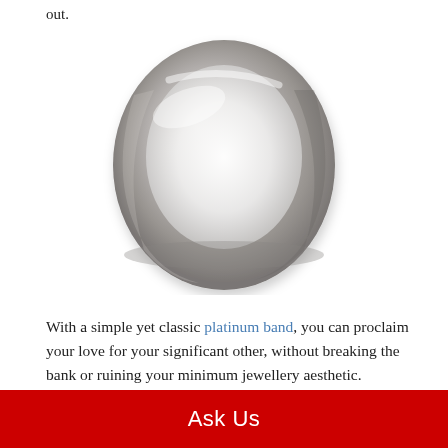out.
[Figure (photo): A silver/platinum plain wedding band ring photographed on a white background, viewed at a slight angle showing the circular shape and polished metal surface.]
With a simple yet classic platinum band, you can proclaim your love for your significant other, without breaking the bank or ruining your minimum jewellery aesthetic.
Ask Us